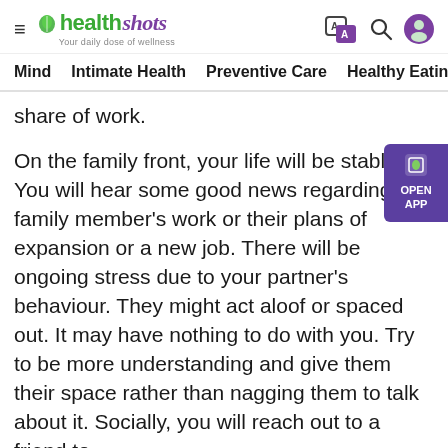healthshots — Your daily dose of wellness
Mind  Intimate Health  Preventive Care  Healthy Eating  F
share of work.
On the family front, your life will be stable. You will hear some good news regarding a family member's work or their plans of expansion or a new job. There will be ongoing stress due to your partner's behaviour. They might act aloof or spaced out. It may have nothing to do with you. Try to be more understanding and give them their space rather than nagging them to talk about it. Socially, you will reach out to a friend to